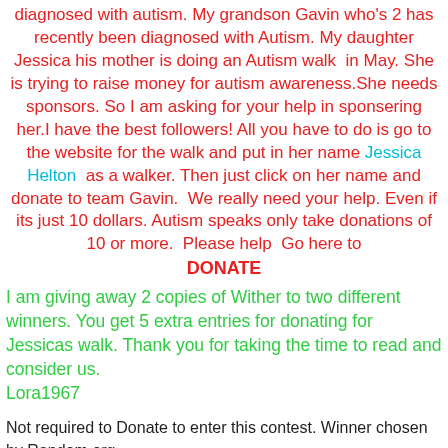diagnosed with autism. My grandson Gavin who's 2 has recently been diagnosed with Autism. My daughter Jessica his mother is doing an Autism walk  in May. She is trying to raise money for autism awareness.She needs sponsors. So I am asking for your help in sponsering her.I have the best followers! All you have to do is go to the website for the walk and put in her name Jessica Helton  as a walker. Then just click on her name and donate to team Gavin.  We really need your help. Even if its just 10 dollars. Autism speaks only take donations of 10 or more.  Please help  Go here to DONATE
I am giving away 2 copies of Wither to two different winners. You get 5 extra entries for donating for Jessicas walk. Thank you for taking the time to read and consider us. Lora1967
Not required to Donate to enter this contest. Winner chosen by Random.org